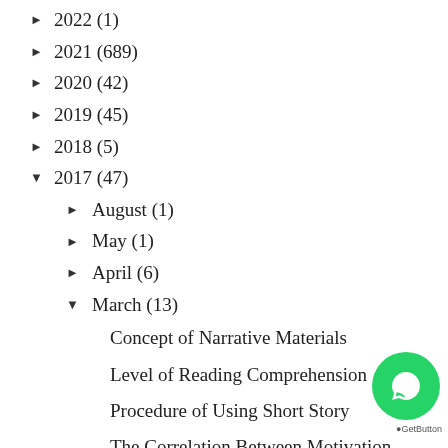► 2022 (1)
► 2021 (689)
► 2020 (42)
► 2019 (45)
► 2018 (5)
▼ 2017 (47)
► August (1)
► May (1)
► April (6)
▼ March (13)
Concept of Narrative Materials
Level of Reading Comprehension
Procedure of Using Short Story
The Correlation Between Motivation and Vocabulary...
Vocabulary Activities
The Concept of Vocabulary...